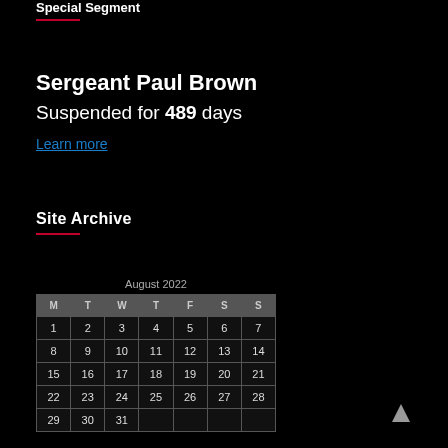Special Segment
Sergeant Paul Brown
Suspended for 489 days
Learn more
Site Archive
| M | T | W | T | F | S | S |
| --- | --- | --- | --- | --- | --- | --- |
| 1 | 2 | 3 | 4 | 5 | 6 | 7 |
| 8 | 9 | 10 | 11 | 12 | 13 | 14 |
| 15 | 16 | 17 | 18 | 19 | 20 | 21 |
| 22 | 23 | 24 | 25 | 26 | 27 | 28 |
| 29 | 30 | 31 |  |  |  |  |